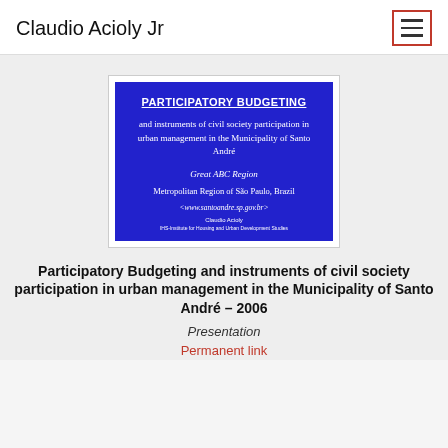Claudio Acioly Jr
[Figure (screenshot): Slide thumbnail with blue background showing title: PARTICIPATORY BUDGETING and instruments of civil society participation in urban management in the Municipality of Santo André, Great ABC Region, Metropolitan Region of São Paulo, Brazil, <www.santoandre.sp.gov.br>, Claudio Acioly, IHS-Institute for Housing and Urban Development Studies]
Participatory Budgeting and instruments of civil society participation in urban management in the Municipality of Santo André – 2006
Presentation
Permanent link